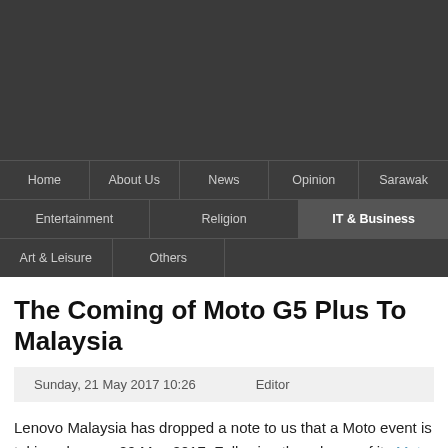Home | About Us | News | Opinion | Sarawak | Entertainment | Religion | IT & Business | Art & Leisure | Others
The Coming of Moto G5 Plus To Malaysia
Sunday, 21 May 2017 10:26   Editor
Lenovo Malaysia has dropped a note to us that a Moto event is taking place on 29 May 2017. Following the release of its Moto M smartphone earlier this year, we believe this is likely to be the launch of the Moto G5 Plus which was introduced during MWC 2017.